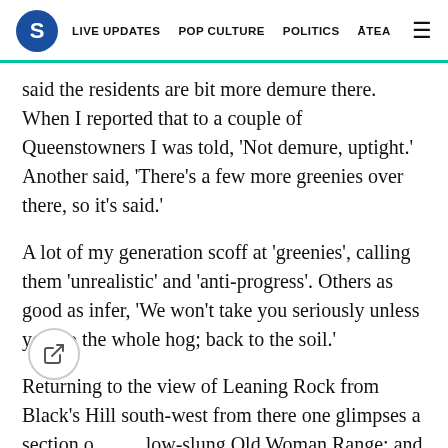S LIVE UPDATES POP CULTURE POLITICS ĀTEA ☰
said the residents are bit more demure there. When I reported that to a couple of Queenstowners I was told, 'Not demure, uptight.' Another said, 'There's a few more greenies over there, so it's said.'
A lot of my generation scoff at 'greenies', calling them 'unrealistic' and 'anti-progress'. Others as good as infer, 'We won't take you seriously unless you go the whole hog; back to the soil.'
Returning to the view of Leaning Rock from Black's Hill south-west from there one glimpses a section of the low-slung Old Woman Range; and then, closer, and prominent above Alexandra and